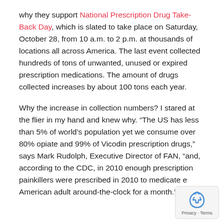why they support National Prescription Drug Take-Back Day, which is slated to take place on Saturday, October 28, from 10 a.m. to 2 p.m. at thousands of locations all across America. The last event collected hundreds of tons of unwanted, unused or expired prescription medications. The amount of drugs collected increases by about 100 tons each year.
Why the increase in collection numbers? I stared at the flier in my hand and knew why. “The US has less than 5% of world’s population yet we consume over 80% opiate and 99% of Vicodin prescription drugs,” says Mark Rudolph, Executive Director of FAN, “and, according to the CDC, in 2010 enough prescription painkillers were prescribed in 2010 to medicate every American adult around-the-clock for a month.”
[Figure (logo): Google reCAPTCHA privacy badge with blue recycling-arrow icon and Privacy · Terms text]